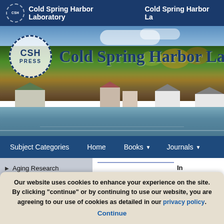Cold Spring Harbor Laboratory   Cold Spring Harbor La
[Figure (photo): Cold Spring Harbor Laboratory Press banner with CSH PRESS logo and scenic photo of Cold Spring Harbor waterfront with autumn trees and houses reflected in water]
Cold Spring Harbor La
Subject Categories   Home   Books   Journals
Aging Research
Autobiography/Biography
Bacteria
In
Bi
Su
Bio
Our website uses cookies to enhance your experience on the site. By clicking "continue" or by continuing to use our website, you are agreeing to our use of cookies as detailed in our privacy policy.
Continue